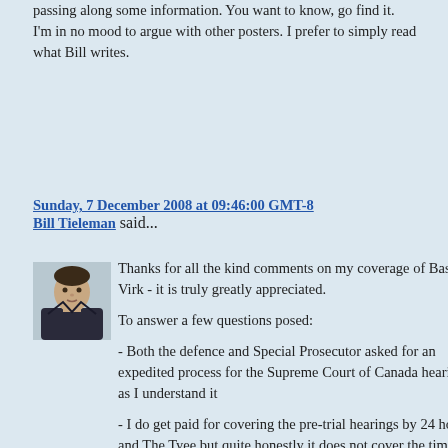passing along some information. You want to know, go find it.
I'm in no mood to argue with other posters. I prefer to simply read what Bill writes.
Sunday, 7 December 2008 at 09:46:00 GMT-8 Bill Tieleman said...
[Figure (photo): Small avatar photo of Bill Tieleman, a man in a dark jacket, against a light background.]
Thanks for all the kind comments on my coverage of Basi-Virk - it is truly greatly appreciated.

To answer a few questions posed:

- Both the defence and Special Prosecutor asked for an expedited process for the Supreme Court of Canada hearing as I understand it

- I do get paid for covering the pre-trial hearings by 24 hours and The Tyee but quite honestly it does not cover the time spent, so I do my regular work in mornings and evenings. Not complaining, this case is important and I have the privilege of